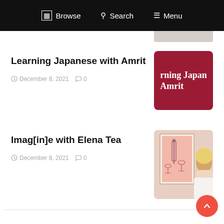Browse  Search  Menu
Learning Japanese with Amrit
December 8, 2021   0
[Figure (illustration): Red/crimson square thumbnail with white serif text reading 'rning Japan' and 'Amrit']
Imag[in]e with Elena Tea
December 8, 2021   0
[Figure (photo): Photo of a woman with blonde hair looking at a pink illustrated art print featuring a wine bottle and glasses]